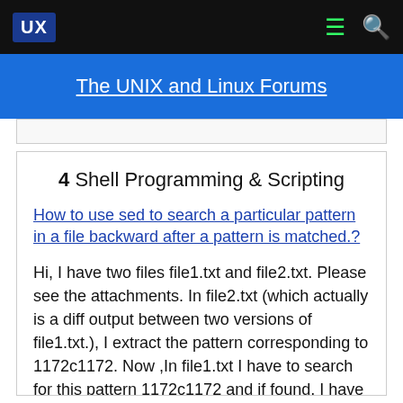UX | The UNIX and Linux Forums
4  Shell Programming & Scripting
How to use sed to search a particular pattern in a file backward after a pattern is matched.?
Hi, I have two files file1.txt and file2.txt. Please see the attachments. In file2.txt (which actually is a diff output between two versions of file1.txt.), I extract the pattern corresponding to 1172c1172. Now ,In file1.txt I have to search for this pattern 1172c1172 and if found, I have to...